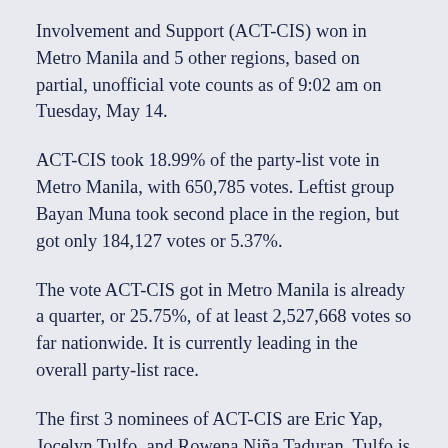Involvement and Support (ACT-CIS) won in Metro Manila and 5 other regions, based on partial, unofficial vote counts as of 9:02 am on Tuesday, May 14.
ACT-CIS took 18.99% of the party-list vote in Metro Manila, with 650,785 votes. Leftist group Bayan Muna took second place in the region, but got only 184,127 votes or 5.37%.
The vote ACT-CIS got in Metro Manila is already a quarter, or 25.75%, of at least 2,527,668 votes so far nationwide. It is currently leading in the overall party-list race.
The first 3 nominees of ACT-CIS are Eric Yap, Jocelyn Tulfo, and Rowena Niña Taduran. Tulfo is the wife of radio personality Raffy Tulfo, and